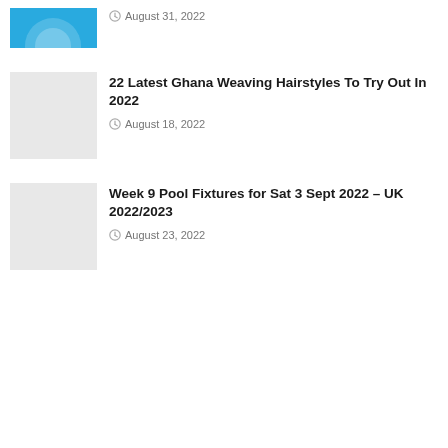[Figure (photo): Partial thumbnail image with blue background visible at top, partially cropped]
August 31, 2022
22 Latest Ghana Weaving Hairstyles To Try Out In 2022
August 18, 2022
Week 9 Pool Fixtures for Sat 3 Sept 2022 – UK 2022/2023
August 23, 2022